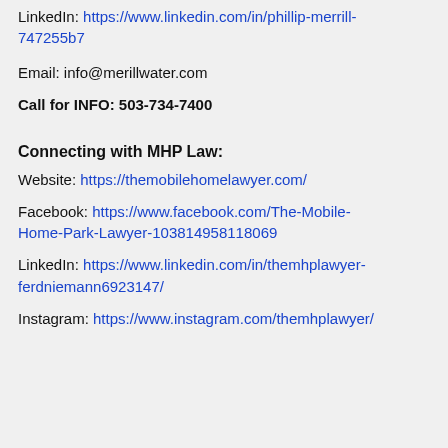LinkedIn: https://www.linkedin.com/in/phillip-merrill-747255b7
Email: info@merillwater.com
Call for INFO: 503-734-7400
Connecting with MHP Law:
Website: https://themobilehomelawyer.com/
Facebook: https://www.facebook.com/The-Mobile-Home-Park-Lawyer-103814958118069
LinkedIn: https://www.linkedin.com/in/themhplawyer-ferdniemann6923147/
Instagram: https://www.instagram.com/themhplawyer/